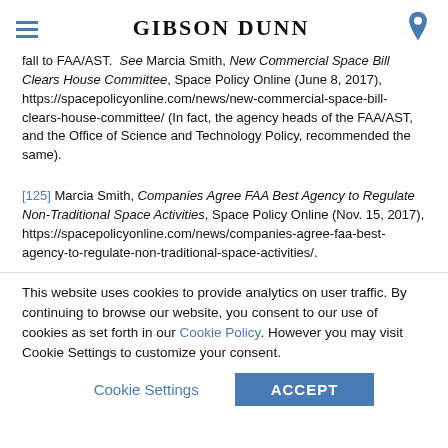GIBSON DUNN
fall to FAA/AST. See Marcia Smith, New Commercial Space Bill Clears House Committee, Space Policy Online (June 8, 2017), https://spacepolicyonline.com/news/new-commercial-space-bill-clears-house-committee/ (In fact, the agency heads of the FAA/AST, and the Office of Science and Technology Policy, recommended the same).
[125] Marcia Smith, Companies Agree FAA Best Agency to Regulate Non-Traditional Space Activities, Space Policy Online (Nov. 15, 2017), https://spacepolicyonline.com/news/companies-agree-faa-best-agency-to-regulate-non-traditional-space-activities/.
This website uses cookies to provide analytics on user traffic. By continuing to browse our website, you consent to our use of cookies as set forth in our Cookie Policy. However you may visit Cookie Settings to customize your consent.